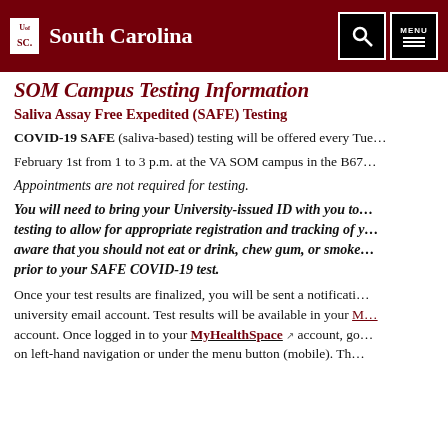University of South Carolina
SOM Campus Testing Information
Saliva Assay Free Expedited (SAFE) Testing
COVID-19 SAFE (saliva-based) testing will be offered every Tuesday, beginning February 1st from 1 to 3 p.m. at the VA SOM campus in the B67...
Appointments are not required for testing.
You will need to bring your University-issued ID with you to testing to allow for appropriate registration and tracking of y... aware that you should not eat or drink, chew gum, or smoke... prior to your SAFE COVID-19 test.
Once your test results are finalized, you will be sent a notification... university email account. Test results will be available in your M... account. Once logged in to your MyHealthSpace account, go... on left-hand navigation or under the menu button (mobile). Th...